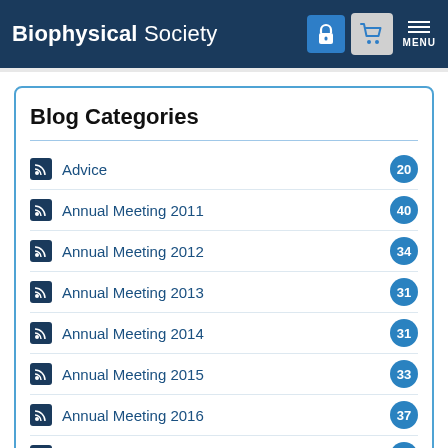Biophysical Society
Blog Categories
Advice 20
Annual Meeting 2011 40
Annual Meeting 2012 34
Annual Meeting 2013 31
Annual Meeting 2014 31
Annual Meeting 2015 33
Annual Meeting 2016 37
Annual Meeting 2017 41
Annual Meeting 2018 39
Annual Meeting 2019 25
Annual Meeting 2020 34